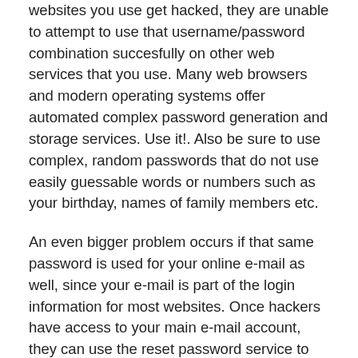websites you use get hacked, they are unable to attempt to use that username/password combination succesfully on other web services that you use. Many web browsers and modern operating systems offer automated complex password generation and storage services. Use it!. Also be sure to use complex, random passwords that do not use easily guessable words or numbers such as your birthday, names of family members etc.
An even bigger problem occurs if that same password is used for your online e-mail as well, since your e-mail is part of the login information for most websites. Once hackers have access to your main e-mail account, they can use the reset password service to access all of the services connected to your e-mail address. To further increase security, you might want to